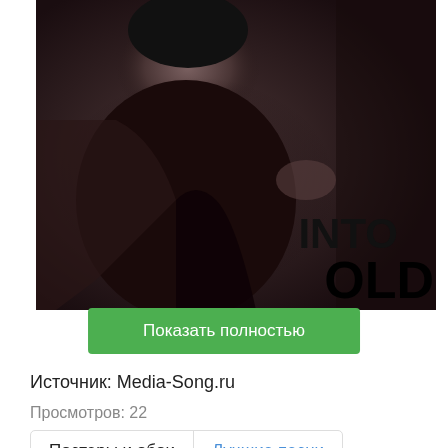[Figure (photo): Black and white photo of Paul Barker in a leather jacket, with text overlay 'Paul Barker' vertically on the right side and bold letters 'OLD' and 'INTO' visible bottom right, partially cropped.]
Показать полностью
Источник: Media-Song.ru
Просмотров: 22
Постеры и обои
Лучшие песни
Дискография